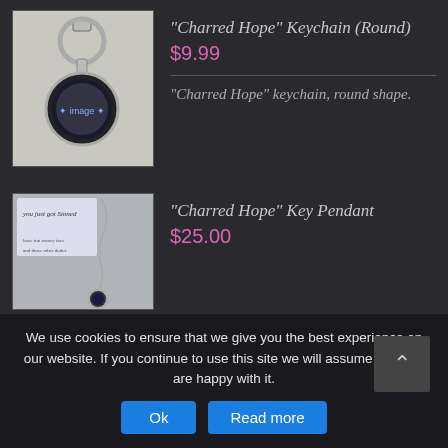[Figure (photo): Round keychain with an image on it, silver clasp and ring, on a white/light background]
"Charred Hope" Keychain (Round)
$9.99
"Charred Hope" keychain, round shape.
[Figure (photo): Key pendant with chain, dark charm with image, text written on a note behind it]
"Charred Hope" Key Pendant
$25.00
We use cookies to ensure that we give you the best experience on our website. If you continue to use this site we will assume that you are happy with it.